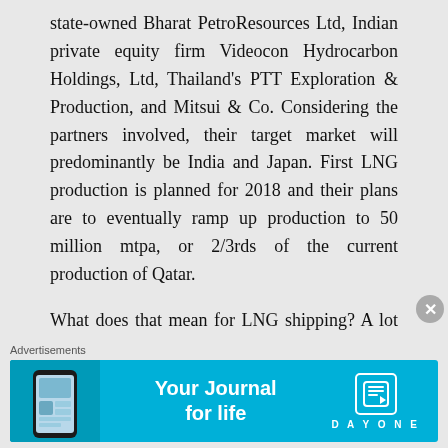state-owned Bharat PetroResources Ltd, Indian private equity firm Videocon Hydrocarbon Holdings, Ltd, Thailand's PTT Exploration & Production, and Mitsui & Co. Considering the partners involved, their target market will predominantly be India and Japan. First LNG production is planned for 2018 and their plans are to eventually ramp up production to 50 million mtpa, or 2/3rds of the current production of Qatar.
What does that mean for LNG shipping? A lot more ships. To handle 50 million mtpa, upwards of 35 LNG carriers may be needed for transportation if you compare the ratio between Qatar's fleet size and
Advertisements
[Figure (other): Advertisement banner for Day One journal app with blue background, phone image on left, 'Your Journal for life' text in center, and Day One logo on right]